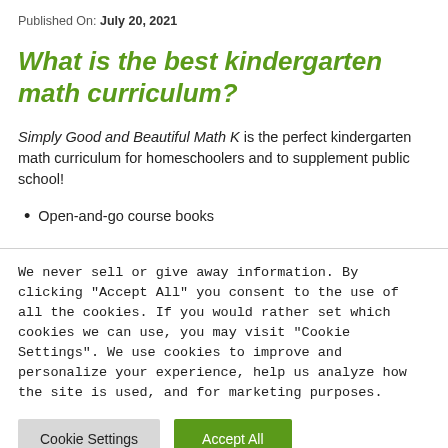Published On: July 20, 2021
What is the best kindergarten math curriculum?
Simply Good and Beautiful Math K is the perfect kindergarten math curriculum for homeschoolers and to supplement public school!
Open-and-go course books
We never sell or give away information. By clicking "Accept All" you consent to the use of all the cookies. If you would rather set which cookies we can use, you may visit "Cookie Settings". We use cookies to improve and personalize your experience, help us analyze how the site is used, and for marketing purposes.